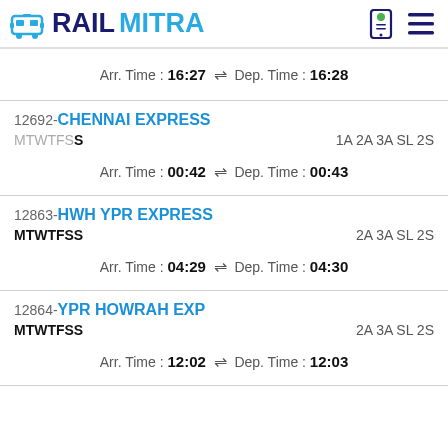RAILMITRA
Arr. Time :16:27 ⇌ Dep. Time :16:28
12692-CHENNAI EXPRESS
MTWTFSS	1A 2A 3A SL 2S
Arr. Time :00:42 ⇌ Dep. Time :00:43
12863-HWH YPR EXPRESS
MTWTFSS	2A 3A SL 2S
Arr. Time :04:29 ⇌ Dep. Time :04:30
12864-YPR HOWRAH EXP
MTWTFSS	2A 3A SL 2S
Arr. Time :12:02 ⇌ Dep. Time :12:03